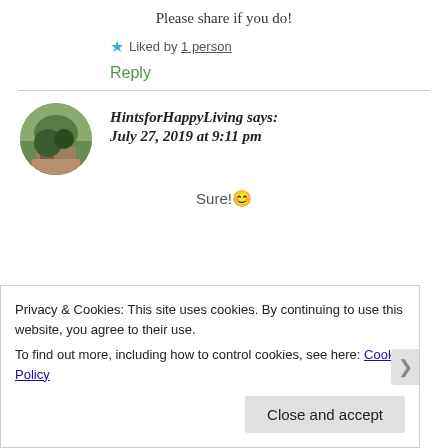Please share if you do!
★ Liked by 1 person
Reply
HintsforHappyLiving says: July 27, 2019 at 9:11 pm
Sure! 😊
Privacy & Cookies: This site uses cookies. By continuing to use this website, you agree to their use.
To find out more, including how to control cookies, see here: Cookie Policy
Close and accept